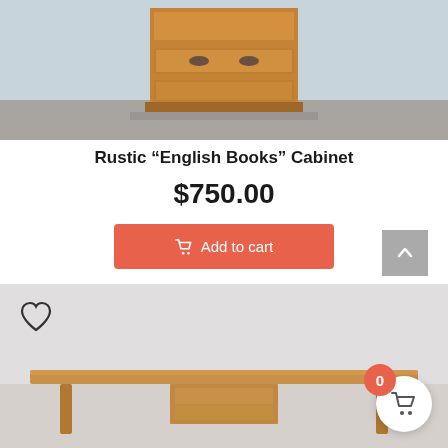[Figure (photo): Photo of a rustic wooden cabinet with drawers, shown on a concrete floor against a light blue-gray wall. The cabinet appears to be pine/oak with metal drawer pulls.]
Rustic “English Books” Cabinet
$750.00
Add to cart
[Figure (photo): Photo of a mid-century modern wooden desk with tapered legs, shown against a light gray wall. A shopping cart floating action button with badge showing 0 items is visible in the bottom right corner. A heart/wishlist icon is visible in the top left of the image.]